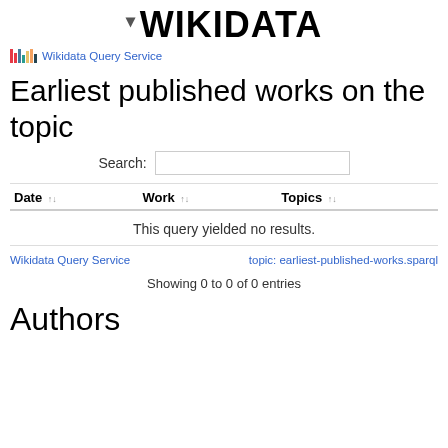[Figure (logo): Wikidata logo with location pin icon and bold text WIKIDATA]
Wikidata Query Service
Earliest published works on the topic
Search:
| Date | Work | Topics |
| --- | --- | --- |
This query yielded no results.
Wikidata Query Service    topic: earliest-published-works.sparql
Showing 0 to 0 of 0 entries
Authors